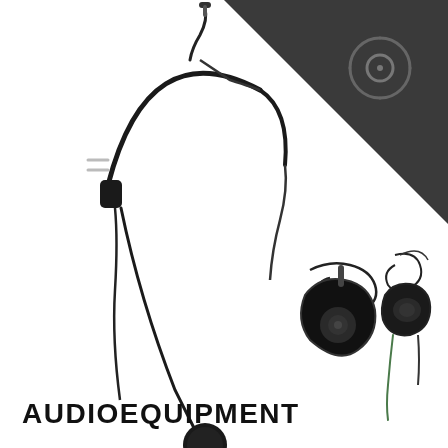[Figure (photo): Product photo of audio equipment: a black headset microphone on the left, with two additional audio accessories (clip-on speaker and earpiece with cable) in the center-right. Dark gray triangle in upper-right corner with a circular audio icon.]
AUDIOEQUIPMENT